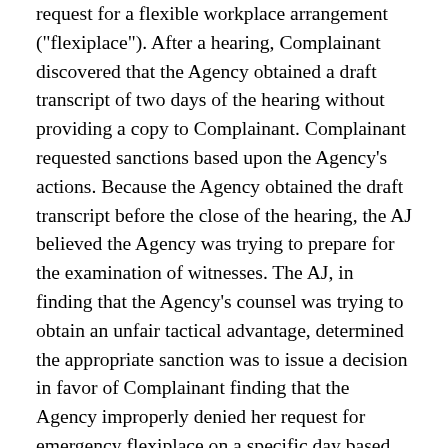request for a flexible workplace arrangement ("flexiplace"). After a hearing, Complainant discovered that the Agency obtained a draft transcript of two days of the hearing without providing a copy to Complainant. Complainant requested sanctions based upon the Agency's actions. Because the Agency obtained the draft transcript before the close of the hearing, the AJ believed the Agency was trying to prepare for the examination of witnesses. The AJ, in finding that the Agency's counsel was trying to obtain an unfair tactical advantage, determined the appropriate sanction was to issue a decision in favor of Complainant finding that the Agency improperly denied her request for emergency flexiplace on a specific day based on race. The AJ found that Complainant failed to establish discrimination with regard to two additional matters. On appeal, the Commission affirmed the Agency's finding of no discrimination with regard to two issues and affirmed the